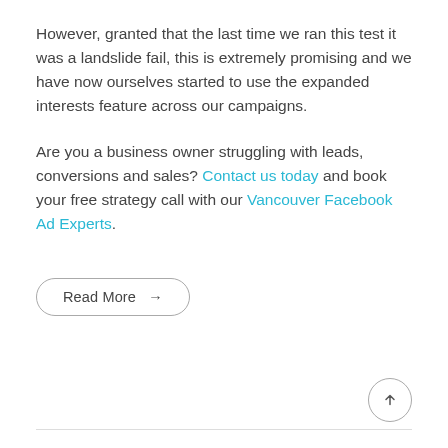However, granted that the last time we ran this test it was a landslide fail, this is extremely promising and we have now ourselves started to use the expanded interests feature across our campaigns.
Are you a business owner struggling with leads, conversions and sales? Contact us today and book your free strategy call with our Vancouver Facebook Ad Experts.
Read More →